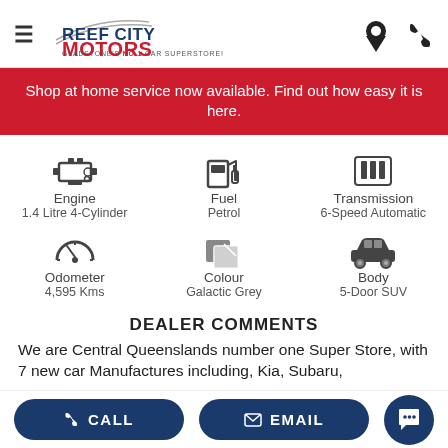Reef City Motors — Gladstone's No 1 Car Superstore!
Shop at home service now available. Find out how easy it is here.
| Engine | Fuel | Transmission |
| --- | --- | --- |
| 1.4 Litre 4-Cylinder | Petrol | 6-Speed Automatic |
| Odometer | Colour | Body |
| 4,595 Kms | Galactic Grey | 5-Door SUV |
DEALER COMMENTS
We are Central Queenslands number one Super Store, with 7 new car Manufactures including, Kia, Subaru, ...